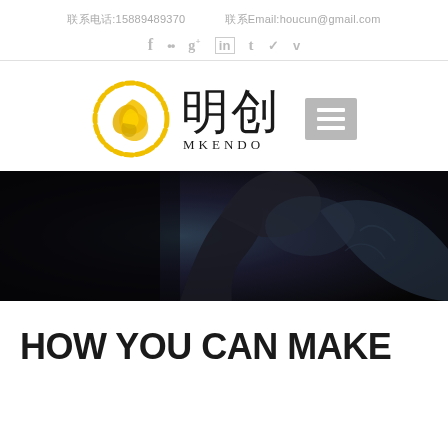联系电话:15889489370   联系Email:houcun@gmail.com
f  ··  g+  in  t  ✓  v (social icons)
[Figure (logo): MKENDO logo with yellow circular dragon emblem, Chinese characters 明创, and text MKENDO with a grey hamburger menu icon]
[Figure (photo): Dark dramatic photo of a person in dark clothing raising their arm/fist, showing muscle, against a very dark background]
HOW YOU CAN MAKE